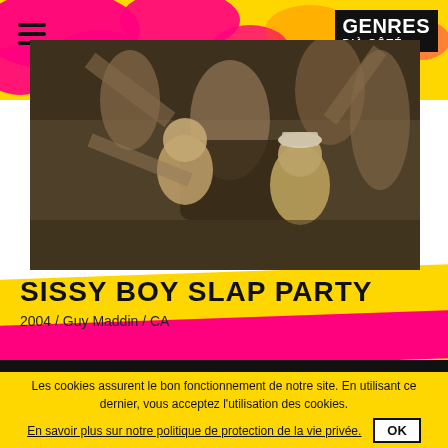GENRES D'À CÔTÉ
[Figure (photo): Black and white / sepia-toned film still showing several semi-nude figures in a dramatic scene; man with white cap in foreground]
SISSY BOY SLAP PARTY
2004 / Guy Maddin / CA
Les cookies assurent le bon fonctionnement de notre site. En utilisant ce dernier, vous acceptez l'utilisation des cookies.
En savoir plus sur notre politique de protection de la vie privée.
OK